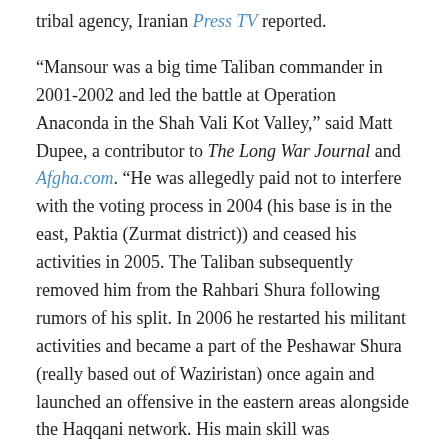tribal agency, Iranian Press TV reported.
“Mansour was a big time Taliban commander in 2001-2002 and led the battle at Operation Anaconda in the Shah Vali Kot Valley,” said Matt Dupee, a contributor to The Long War Journal and Afgha.com. “He was allegedly paid not to interfere with the voting process in 2004 (his base is in the east, Paktia (Zurmat district)) and ceased his activities in 2005. The Taliban subsequently removed him from the Rahbari Shura following rumors of his split. In 2006 he restarted his militant activities and became a part of the Peshawar Shura (really based out of Waziristan) once again and launched an offensive in the eastern areas alongside the Haqqani network. His main skill was commanding men on the battlefield and his in-depth knowledge of military tactics and guerilla warfare.”
Mansour’s father was governor of Paktia province before being murdered by a rival warlord. He commanded Taliban troops against the Northern Alliance during the Taliban rule of Afghanistan. He “was wounded three times in three wars –